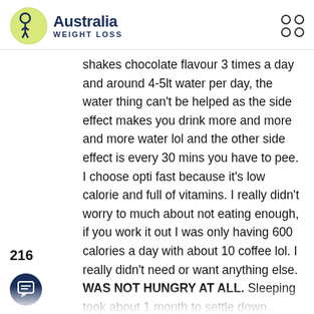Australia Weight Loss
shakes chocolate flavour 3 times a day and around 4-5lt water per day, the water thing can't be helped as the side effect makes you drink more and more and more water lol and the other side effect is every 30 mins you have to pee. I choose opti fast because it's low calorie and full of vitamins. I really didn't worry to much about not eating enough, if you work it out I was only having 600 calories a day with about 10 coffee lol. I really didn't need or want anything else. WAS NOT HUNGRY AT ALL. Sleeping took about 1 month to settle down.. there was a unusual side effect which you will laught at, the urge to pee and at the same time trying not to cum. Yep you here'd me correct I would constantly